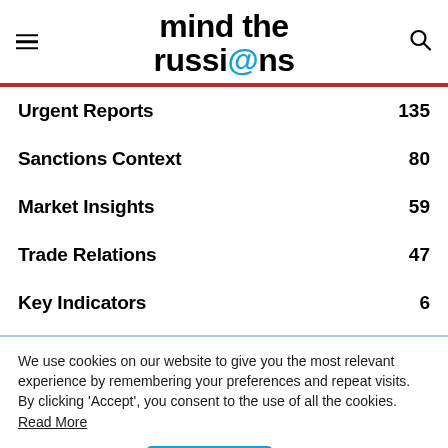mind the russi@ns
Urgent Reports 135
Sanctions Context 80
Market Insights 59
Trade Relations 47
Key Indicators 6
We use cookies on our website to give you the most relevant experience by remembering your preferences and repeat visits. By clicking 'Accept', you consent to the use of all the cookies. Read More
Cookie Settings | Accept